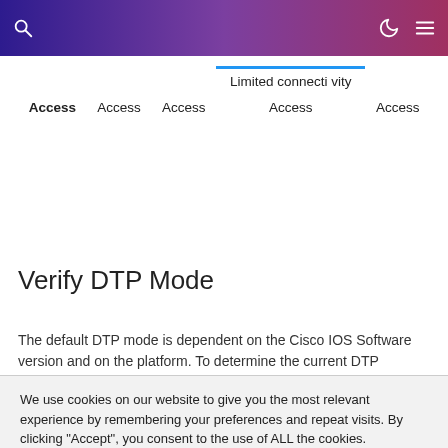Navigation bar with search, dark mode, and menu icons
| Access | Access | Access | Limited connectivity | Access |
| --- | --- | --- | --- | --- |
Verify DTP Mode
The default DTP mode is dependent on the Cisco IOS Software version and on the platform. To determine the current DTP
We use cookies on our website to give you the most relevant experience by remembering your preferences and repeat visits. By clicking “Accept”, you consent to the use of ALL the cookies.
Do not sell my personal information.
Cookie settings  ACCEPT